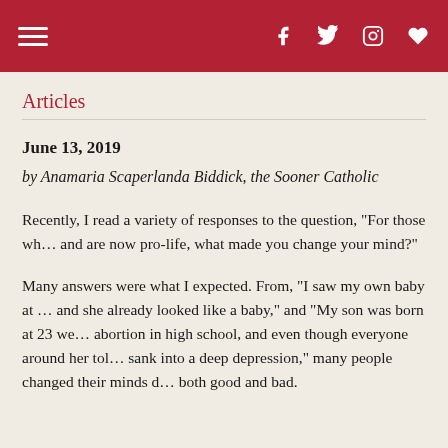Articles
June 13, 2019
by Anamaria Scaperlanda Biddick, the Sooner Catholic
Recently, I read a variety of responses to the question, "For those wh… and are now pro-life, what made you change your mind?"
Many answers were what I expected. From, "I saw my own baby at … and she already looked like a baby," and "My son was born at 23 we… abortion in high school, and even though everyone around her tol… sank into a deep depression," many people changed their minds d… both good and bad.